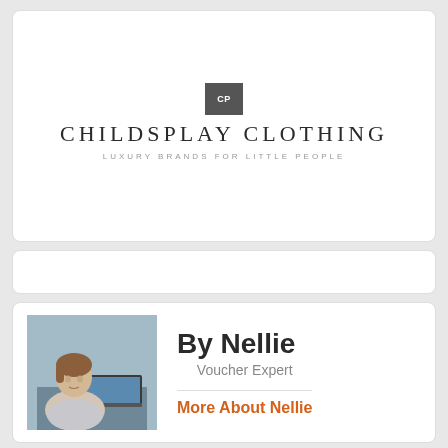[Figure (logo): Childsplay Clothing logo with CP monogram in a square, brand name in uppercase serif letters, tagline 'LUXURY BRANDS FOR LITTLE PEOPLE']
By Nellie
Voucher Expert
More About Nellie